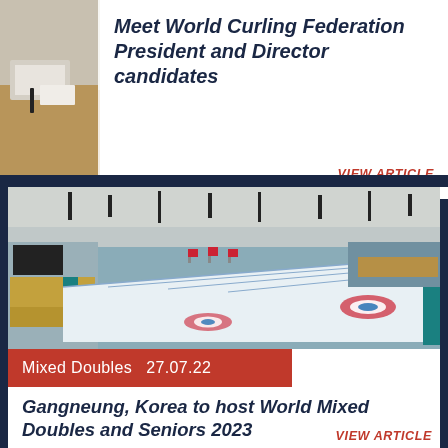[Figure (photo): Partial view of a meeting room with papers and pens on a wooden table, dark navy background strip on left]
Meet World Curling Federation President and Director candidates
VIEW ARTICLE
[Figure (photo): Interior of a curling arena (Gangneung Curling Centre, Korea) with multiple curling sheets visible, colorful seats, and overhead lighting]
Mixed Doubles  27.07.22
Gangneung, Korea to host World Mixed Doubles and Seniors 2023
VIEW ARTICLE